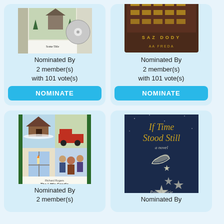[Figure (photo): Book cover with CD — top left card, partially cropped at top]
Nominated By
2 member(s)
with 101 vote(s)
NOMINATE
[Figure (photo): Book cover 'AA FREDA' — top right card, partially cropped at top]
Nominated By
2 member(s)
with 101 vote(s)
NOMINATE
[Figure (photo): Book cover 'The Little Candle – A Spruce Pine Christmas' by Richard Rogers — bottom left card]
Nominated By
2 member(s)
[Figure (photo): Book cover 'If Time Stood Still – a novel' by Paula Marie — bottom right card]
Nominated By